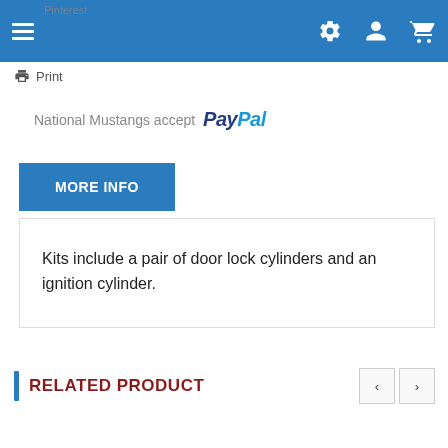[Figure (screenshot): Blue navigation bar with hamburger menu icon on left, and gear/user/cart icons on right]
Print
National Mustangs accept PayPal
MORE INFO
Kits include a pair of door lock cylinders and an ignition cylinder.
RELATED PRODUCT